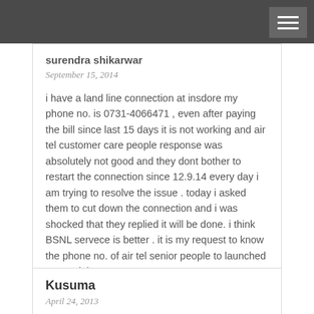surendra shikarwar
September 15, 2014
i have a land line connection at insdore my phone no. is 0731-4066471 , even after paying the bill since last 15 days it is not working and air tel customer care people response was absolutely not good and they dont bother to restart the connection since 12.9.14 every day i am trying to resolve the issue . today i asked them to cut down the connection and i was shocked that they replied it will be done. i think BSNL servece is better . it is my request to know the phone no. of air tel senior people to launched a complaint.
Kusuma
April 24, 2013